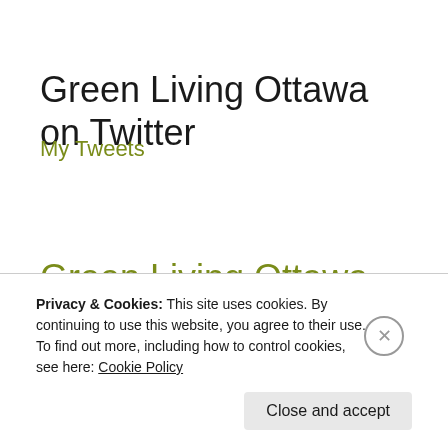Green Living Ottawa on Twitter
My Tweets
Green Living Ottawa on Facebook
Privacy & Cookies: This site uses cookies. By continuing to use this website, you agree to their use.
To find out more, including how to control cookies, see here: Cookie Policy
Close and accept